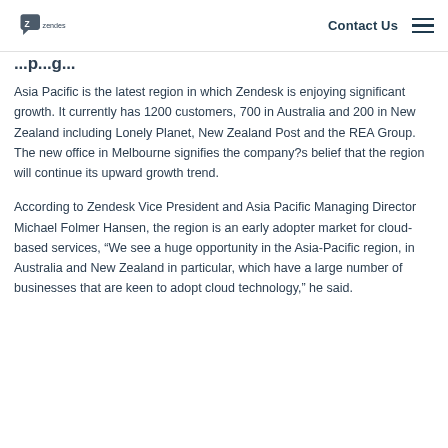Contact Us
Asia Pacific is the latest region in which Zendesk is enjoying significant growth. It currently has 1200 customers, 700 in Australia and 200 in New Zealand including Lonely Planet, New Zealand Post and the REA Group. The new office in Melbourne signifies the company?s belief that the region will continue its upward growth trend.
According to Zendesk Vice President and Asia Pacific Managing Director Michael Folmer Hansen, the region is an early adopter market for cloud-based services, “We see a huge opportunity in the Asia-Pacific region, in Australia and New Zealand in particular, which have a large number of businesses that are keen to adopt cloud technology,” he said.